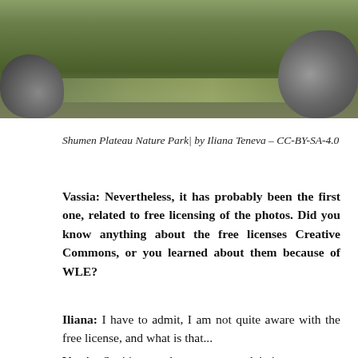[Figure (photo): Aerial/landscape photo of Shumen Plateau Nature Park showing forested hills and rocky outcrops]
Shumen Plateau Nature Park| by Iliana Teneva – CC-BY-SA-4.0
Vassia: Nevertheless, it has probably been the first one, related to free licensing of the photos. Did you know anything about the free licenses Creative Commons, or you learned about them because of WLE?
Iliana: I have to admit, I am not quite aware with the free license, and what is that...
Vassia: So, it's a good moment to explain it to